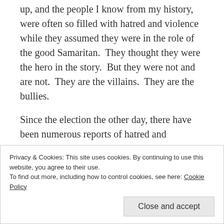I often find it ironic and sad that the place where I grew up, and the people I know from my history, were often so filled with hatred and violence while they assumed they were in the role of the good Samaritan.  They thought they were the hero in the story.  But they were not and are not.  They are the villains.  They are the bullies.
Since the election the other day, there have been numerous reports of hatred and violence.  Swastikas and n-words and the simple moniker “Trump” have been graffitied everywhere from the sides of cars to the doors of prayer rooms.  Muslim women have stopped the
Privacy & Cookies: This site uses cookies. By continuing to use this website, you agree to their use.
To find out more, including how to control cookies, see here: Cookie Policy
Close and accept